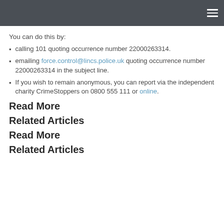You can do this by:
calling 101 quoting occurrence number 22000263314.
emailing force.control@lincs.police.uk quoting occurrence number 22000263314 in the subject line.
If you wish to remain anonymous, you can report via the independent charity CrimeStoppers on 0800 555 111 or online.
Read More
Related Articles
Read More
Related Articles